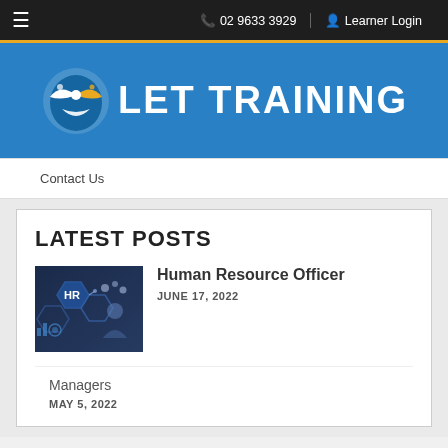☰  02 9633 3929  Learner Login
[Figure (logo): LET TRAINING logo with stylized shield/arrow icon in blue, white, and orange on blue background]
Contact Us
LATEST POSTS
[Figure (photo): Person pressing HR hexagon icon with suit, dark blue tech background]
Human Resource Officer
JUNE 17, 2022
Managers
MAY 5, 2022